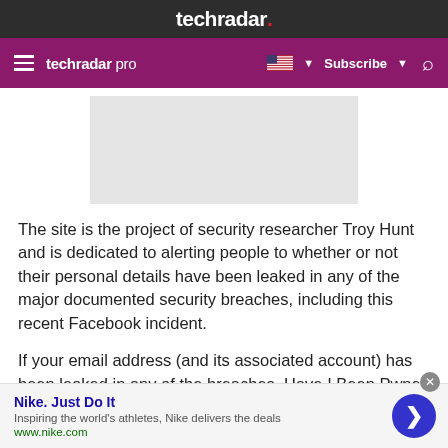techradar.
techradar pro  Subscribe
[Figure (other): Gray advertisement placeholder rectangle]
The site is the project of security researcher Troy Hunt and is dedicated to alerting people to whether or not their personal details have been leaked in any of the major documented security breaches, including this recent Facebook incident.
If your email address (and its associated account) has been leaked in any of the breaches, Have I Been Pwned will let you know which particular breach it was
Nike. Just Do It
Inspiring the world's athletes, Nike delivers the deals
www.nike.com